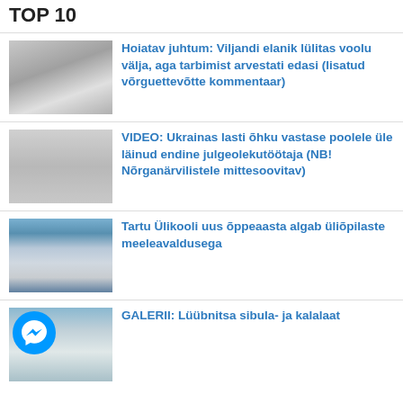TOP 10
Hoiatav juhtum: Viljandi elanik lülitas voolu välja, aga tarbimist arvestati edasi (lisatud võrguettevõtte kommentaar)
VIDEO: Ukrainas lasti õhku vastase poolele üle läinud endine julgeolekutöötaja (NB! Nõrganärvilistele mittesoovitav)
Tartu Ülikooli uus õppeaasta algab üliõpilaste meeleavaldusega
GALERII: Lüübnitsa sibula- ja kalalaat